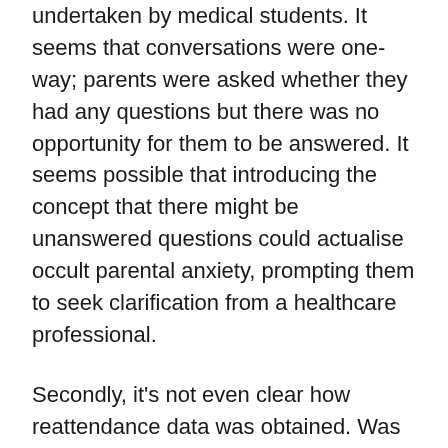undertaken by medical students. It seems that conversations were one-way; parents were asked whether they had any questions but there was no opportunity for them to be answered. It seems possible that introducing the concept that there might be unanswered questions could actualise occult parental anxiety, prompting them to seek clarification from a healthcare professional.
Secondly, it's not even clear how reattendance data was obtained. Was this self-reported by parents at the 96h phone call? It seems so – in which case it could almost certainly have been collected more reliably using ED computerised records.
Thirdly, all manner of data about these reattending subjects is omitted. Were they actually unwell and then admitted to the hospital? We really attention is in the